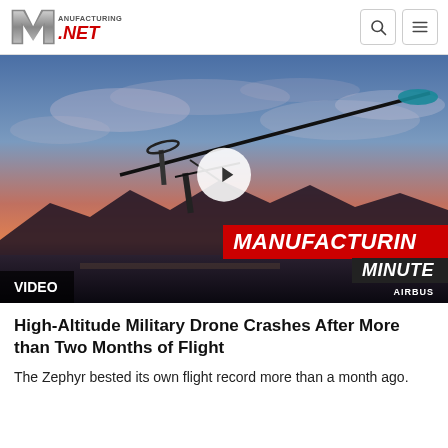Manufacturing.Net
[Figure (screenshot): Video thumbnail showing the Airbus Zephyr high-altitude solar-powered drone in flight against a sunset sky. A white play button is overlaid in the center. A red banner reads 'MANUFACTURING' and a dark banner reads 'MINUTE'. An 'AIRBUS' watermark appears bottom right. A 'VIDEO' label appears bottom left.]
High-Altitude Military Drone Crashes After More than Two Months of Flight
The Zephyr bested its own flight record more than a month ago.